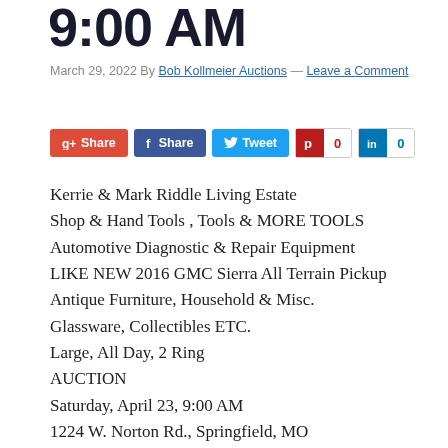9:00 AM
March 29, 2022 By Bob Kollmeier Auctions — Leave a Comment
[Figure (infographic): Social sharing buttons: Google+ Share (red), Facebook Share (dark blue), Twitter Tweet (light blue), Pinterest with count 0 (white/red border), LinkedIn with count 0 (white/blue border)]
Kerrie & Mark Riddle Living Estate
Shop & Hand Tools , Tools & MORE TOOLS
Automotive Diagnostic & Repair Equipment
LIKE NEW 2016 GMC Sierra All Terrain Pickup
Antique Furniture, Household & Misc.
Glassware, Collectibles ETC.
Large, All Day, 2 Ring
AUCTION
Saturday, April 23, 9:00 AM
1224 W. Norton Rd., Springfield, MO